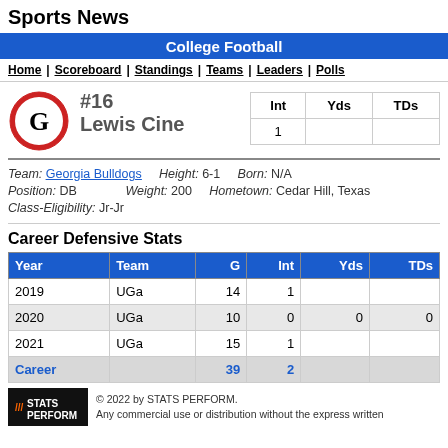Sports News
College Football
Home | Scoreboard | Standings | Teams | Leaders | Polls
#16 Lewis Cine
| Int | Yds | TDs |
| --- | --- | --- |
| 1 |  |  |
Team: Georgia Bulldogs  Height: 6-1  Born: N/A
Position: DB  Weight: 200  Hometown: Cedar Hill, Texas
Class-Eligibility: Jr-Jr
Career Defensive Stats
| Year | Team | G | Int | Yds | TDs |
| --- | --- | --- | --- | --- | --- |
| 2019 | UGa | 14 | 1 |  |  |
| 2020 | UGa | 10 | 0 | 0 | 0 |
| 2021 | UGa | 15 | 1 |  |  |
| Career |  | 39 | 2 |  |  |
© 2022 by STATS PERFORM. Any commercial use or distribution without the express written